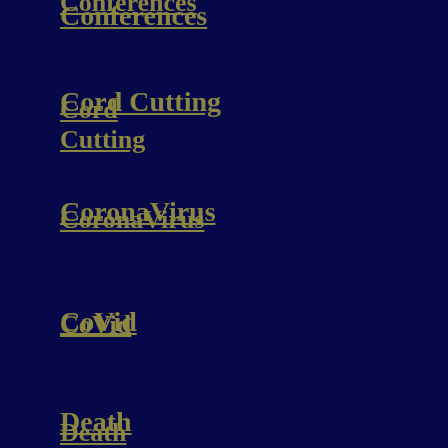Conferences
Cord Cutting
CoronaVirus
CoVid
Death
Digital Currency
Digital Subscriptions
Digital Video
Disney
eCommerce